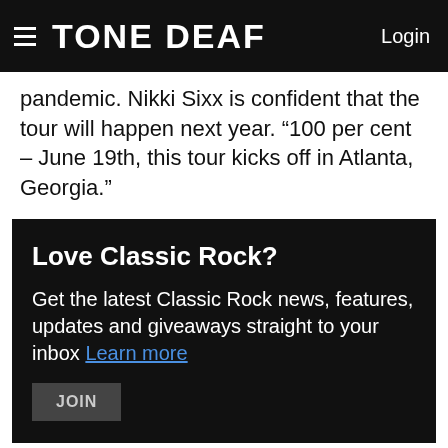TONE DEAF  Login
pandemic. Nikki Sixx is confident that the tour will happen next year. “100 per cent – June 19th, this tour kicks off in Atlanta, Georgia.”
Love Classic Rock?
Get the latest Classic Rock news, features, updates and giveaways straight to your inbox Learn more
JOIN
When asked what fans can expect to see from MÖTLEY CRÜE’s show this time around, Sixx said: “We have some very, very cool things in development, let’s say. Different than anything we’ve done before.”